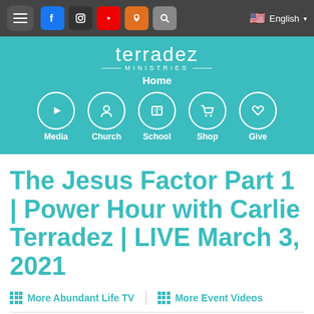[Figure (screenshot): Website navigation top bar with hamburger menu, social icons (Facebook, Instagram, YouTube, Podcast, Search), and English language selector]
[Figure (screenshot): Terradez Ministries teal header with logo, Home link, and navigation icons for Media, Church, School, Shop, Give]
The Jesus Factor Part 1 | Power Hour with Carlie Terradez | LIVE March 3, 2021
More Abundant Life TV | More Event Videos
PREVIOUS | NEXT